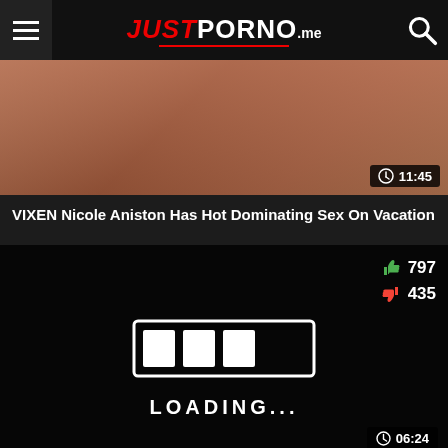JUST PORNO .me
[Figure (screenshot): Video thumbnail showing adult content]
VIXEN Nicole Aniston Has Hot Dominating Sex On Vacation
[Figure (screenshot): Black video player screen with loading animation showing a loading bar graphic and text LOADING..., with 797 likes and 435 dislikes, and timer 06:24]